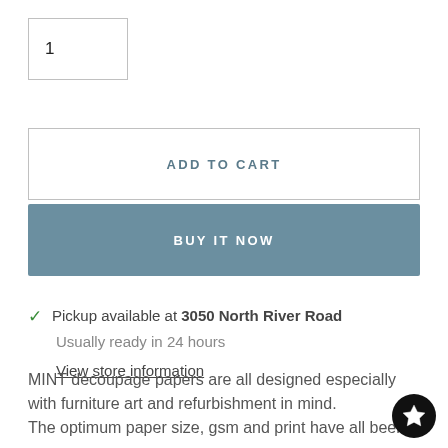1
ADD TO CART
BUY IT NOW
Pickup available at 3050 North River Road
Usually ready in 24 hours
View store information
MINT decoupage papers are all designed especially with furniture art and refurbishment in mind.
The optimum paper size, gsm and print have all been